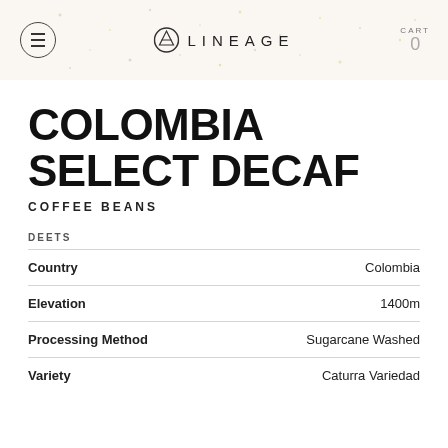LINEAGE | CART 0
COLOMBIA SELECT DECAF
COFFEE BEANS
DEETS
|  |  |
| --- | --- |
| Country | Colombia |
| Elevation | 1400m |
| Processing Method | Sugarcane Washed |
| Variety | Caturra Variedad |